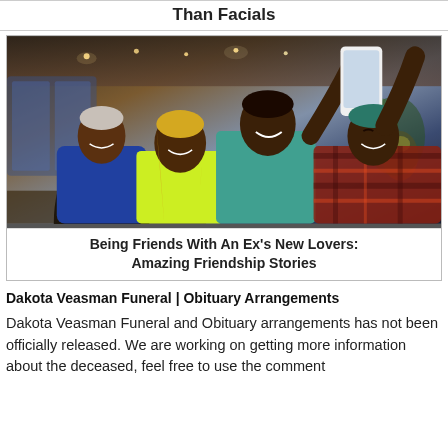Than Facials
[Figure (photo): Four people taking a selfie together in a restaurant setting, smiling. One person holds up a smartphone to take the photo.]
Being Friends With An Ex's New Lovers: Amazing Friendship Stories
Dakota Veasman Funeral | Obituary Arrangements
Dakota Veasman Funeral and Obituary arrangements has not been officially released. We are working on getting more information about the deceased, feel free to use the comment